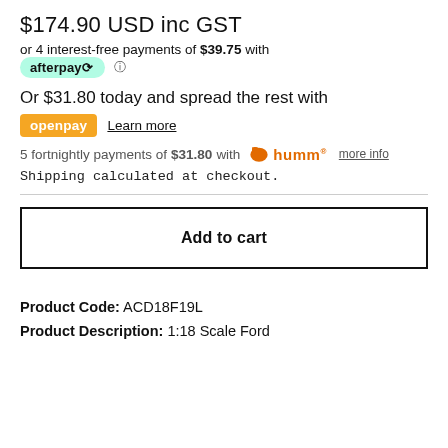$174.90 USD inc GST
or 4 interest-free payments of $39.75 with afterpay
Or $31.80 today and spread the rest with openpay  Learn more
5 fortnightly payments of $31.80 with humm  more info
Shipping calculated at checkout.
Add to cart
Product Code: ACD18F19L
Product Description: 1:18 Scale Ford